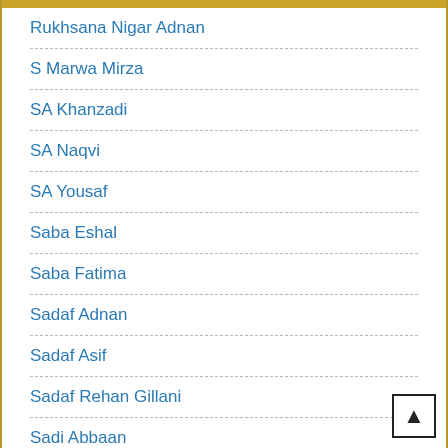Rukhsana Nigar Adnan
S Marwa Mirza
SA Khanzadi
SA Naqvi
SA Yousaf
Saba Eshal
Saba Fatima
Sadaf Adnan
Sadaf Asif
Sadaf Rehan Gillani
Sadi Abbaan
Sadia Abid